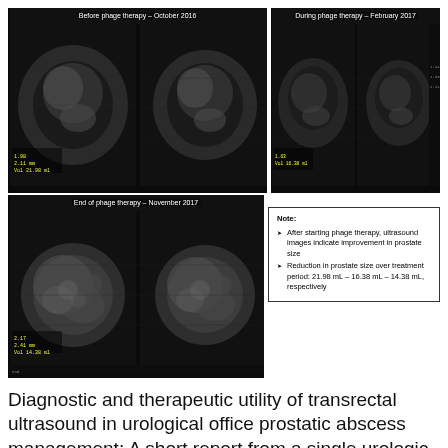[Figure (photo): Transrectal ultrasound image before phage therapy – October 2016, showing prostate in two views]
[Figure (photo): Transrectal ultrasound image during phage therapy – February 2017, showing reduced prostate size]
[Figure (photo): Transrectal ultrasound image at end of phage therapy – November 2017, showing further reduced prostate size]
Note:
• After starting phage therapy, ultrasound images indicate improvement in prostate size
• Reduction in prostate size over treatment period: 21.98 mL – 16.38 mL – 14.38 mL, respectively
Diagnostic and therapeutic utility of transrectal ultrasound in urological office prostatic abscess management: A short report from a single urologic center.
Marconi, A. Pilatz, F. Clinical courses following acute bacterial prostatitis. Prostatitis and Male Pelvic Pain